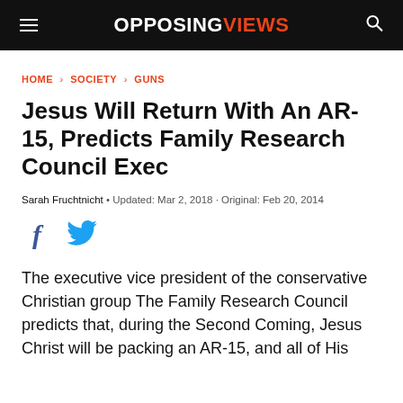OPPOSINGVIEWS
HOME › SOCIETY › GUNS
Jesus Will Return With An AR-15, Predicts Family Research Council Exec
Sarah Fruchtnicht • Updated: Mar 2, 2018 · Original: Feb 20, 2014
[Figure (infographic): Facebook and Twitter social share icons]
The executive vice president of the conservative Christian group The Family Research Council predicts that, during the Second Coming, Jesus Christ will be packing an AR-15, and all of His